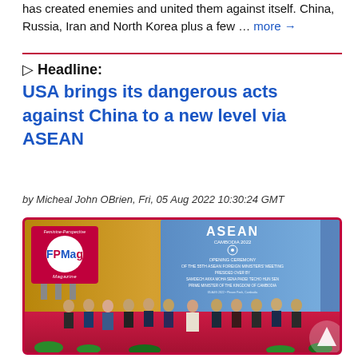has created enemies and united them against itself. China, Russia, Iran and North Korea plus a few … more →
▷ Headline: USA brings its dangerous acts against China to a new level via ASEAN
by Micheal John OBrien, Fri, 05 Aug 2022 10:30:24 GMT
[Figure (photo): Group photo at the Opening Ceremony of the 55th ASEAN Foreign Ministers' Meeting, presided over by Samdech Akka Moha Sena Padei Techo Hun Sen, Prime Minister of the Kingdom of Cambodia. Foreign ministers and officials stand in a row on a red stage in front of an ASEAN Cambodia 2022 backdrop. FPMag logo visible in top-left corner.]